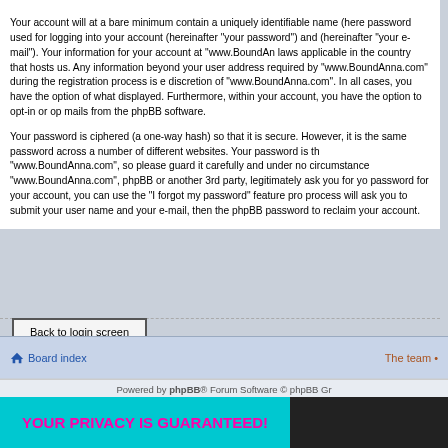Your account will at a bare minimum contain a uniquely identifiable name (here password used for logging into your account (hereinafter "your password") and (hereinafter "your e-mail"). Your information for your account at "www.BoundAn laws applicable in the country that hosts us. Any information beyond your user address required by "www.BoundAnna.com" during the registration process is e discretion of "www.BoundAnna.com". In all cases, you have the option of what displayed. Furthermore, within your account, you have the option to opt-in or op mails from the phpBB software.
Your password is ciphered (a one-way hash) so that it is secure. However, it is the same password across a number of different websites. Your password is th "www.BoundAnna.com", so please guard it carefully and under no circumstance "www.BoundAnna.com", phpBB or another 3rd party, legitimately ask you for yo password for your account, you can use the "I forgot my password" feature pro process will ask you to submit your user name and your e-mail, then the phpBB password to reclaim your account.
Back to login screen
Board index   The team •
Powered by phpBB® Forum Software © phpBB Gr
[Figure (illustration): Advertisement banner: cyan background with pink bold text 'YOUR PRIVACY IS GUARANTEED!' and a dark image on the right side]